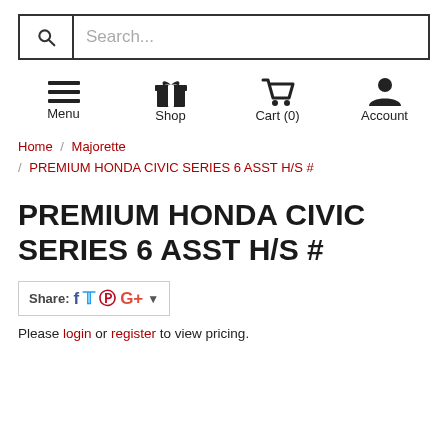Search...
[Figure (infographic): Navigation icons row: Menu (hamburger), Shop (gift box), Cart (0) (shopping cart), Account (person silhouette)]
Home / Majorette / PREMIUM HONDA CIVIC SERIES 6 ASST H/S #
PREMIUM HONDA CIVIC SERIES 6 ASST H/S #
Share: [Facebook] [Twitter] [Pinterest] [Google+] ▾
Please login or register to view pricing.